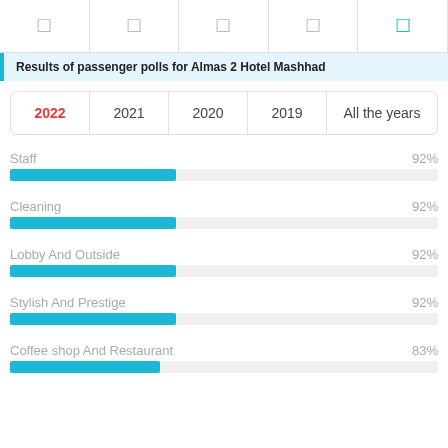tab icons row
Results of passenger polls for Almas 2 Hotel Mashhad
| 2022 | 2021 | 2020 | 2019 | All the years |
| --- | --- | --- | --- | --- |
[Figure (bar-chart): Hotel category ratings 2022]